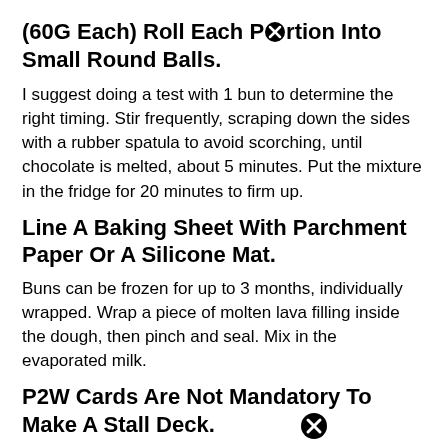(60G Each) Roll Each Portion Into Small Round Balls.
I suggest doing a test with 1 bun to determine the right timing. Stir frequently, scraping down the sides with a rubber spatula to avoid scorching, until chocolate is melted, about 5 minutes. Put the mixture in the fridge for 20 minutes to firm up.
Line A Baking Sheet With Parchment Paper Or A Silicone Mat.
Buns can be frozen for up to 3 months, individually wrapped. Wrap a piece of molten lava filling inside the dough, then pinch and seal. Mix in the evaporated milk.
P2W Cards Are Not Mandatory To Make A Stall Deck.